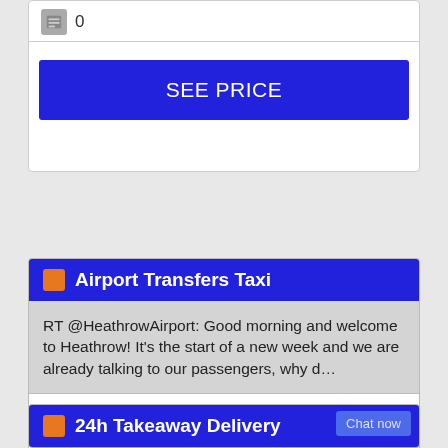[Figure (screenshot): Icon with number 0 row inside a white card]
SEE PRICE
Airport Transfers Taxi
RT @HeathrowAirport: Good morning and welcome to Heathrow! It's the start of a new week and we are already talking to our passengers, why d…
RT @mrgaryhollywood: So happy to say we are now sold out for @DreammakerLes Ball , we have waited so long to bring new and old friends to…
RT @emirates: It's never too late to chart a new course. https://t.co/VSYlrKGd0s
FOLLOW Transport-Tours-Travel-AirportTransfersTaxiShuttle ON_TWITTER
24h Takeaway Delivery